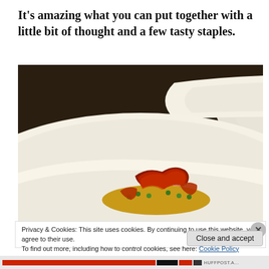It's amazing what you can put together with a little bit of thought and a few tasty staples.
[Figure (photo): Two white plates of food, each containing yellow rice with green peas topped with crispy red prosciutto/bacon. The foreground plate is shown close-up from above on a dark table surface.]
Privacy & Cookies: This site uses cookies. By continuing to use this website, you agree to their use.
To find out more, including how to control cookies, see here: Cookie Policy
Close and accept
HUFFPOST.A...